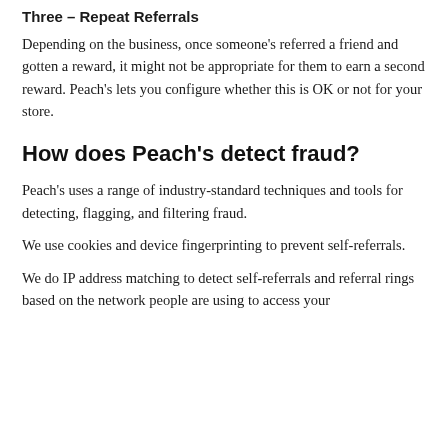Three – Repeat Referrals
Depending on the business, once someone's referred a friend and gotten a reward, it might not be appropriate for them to earn a second reward. Peach's lets you configure whether this is OK or not for your store.
How does Peach's detect fraud?
Peach's uses a range of industry-standard techniques and tools for detecting, flagging, and filtering fraud.
We use cookies and device fingerprinting to prevent self-referrals.
We do IP address matching to detect self-referrals and referral rings based on the network people are using to access your